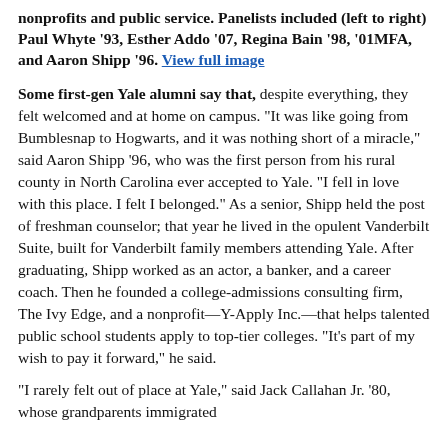nonprofits and public service. Panelists included (left to right) Paul Whyte '93, Esther Addo '07, Regina Bain '98, '01MFA, and Aaron Shipp '96. View full image
Some first-gen Yale alumni say that, despite everything, they felt welcomed and at home on campus. "It was like going from Bumblesnap to Hogwarts, and it was nothing short of a miracle," said Aaron Shipp '96, who was the first person from his rural county in North Carolina ever accepted to Yale. "I fell in love with this place. I felt I belonged." As a senior, Shipp held the post of freshman counselor; that year he lived in the opulent Vanderbilt Suite, built for Vanderbilt family members attending Yale. After graduating, Shipp worked as an actor, a banker, and a career coach. Then he founded a college-admissions consulting firm, The Ivy Edge, and a nonprofit—Y-Apply Inc.—that helps talented public school students apply to top-tier colleges. "It's part of my wish to pay it forward," he said.
"I rarely felt out of place at Yale," said Jack Callahan Jr. '80, whose grandparents immigrated